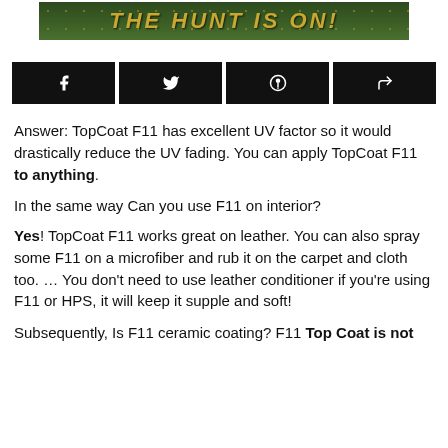[Figure (illustration): Banner image with dark green/forest background and gold text reading 'THE HUNT IS ON!']
[Figure (infographic): Row of four social sharing buttons (Facebook, Twitter, Pinterest, Share) in black]
Answer: TopCoat F11 has excellent UV factor so it would drastically reduce the UV fading. You can apply TopCoat F11 to anything.
In the same way Can you use F11 on interior?
Yes! TopCoat F11 works great on leather. You can also spray some F11 on a microfiber and rub it on the carpet and cloth too. … You don't need to use leather conditioner if you're using F11 or HPS, it will keep it supple and soft!
Subsequently, Is F11 ceramic coating? F11 Top Coat is not